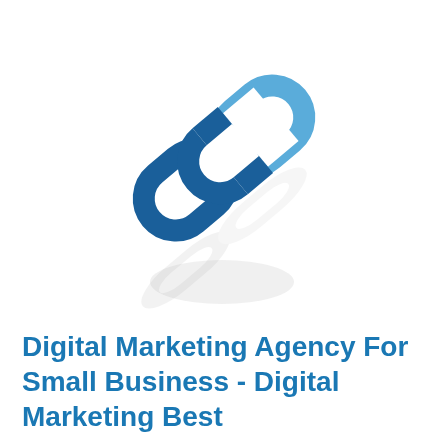[Figure (logo): A chain link icon consisting of two interlocking chain links rendered in dark blue and light blue, tilted diagonally at about 45 degrees, with a faint grey reflection below.]
Digital Marketing Agency For Small Business - Digital Marketing Best